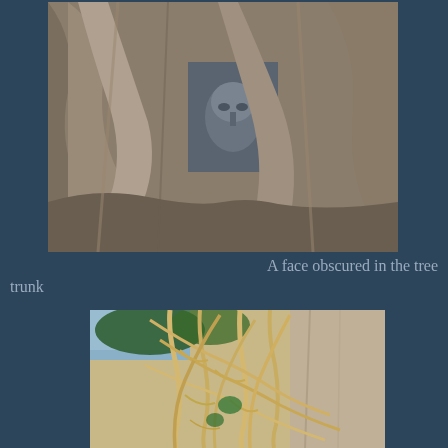[Figure (photo): Close-up photograph of massive tree roots and trunk enveloping a stone carved face or sculpture, with textured grey-brown root surfaces filling the frame]
A face obscured in the tree trunk
[Figure (photo): Photograph of an intricate network of pale golden-tan tree aerial roots forming a lattice or web-like pattern against a rocky cliff face, with green foliage visible at the top]